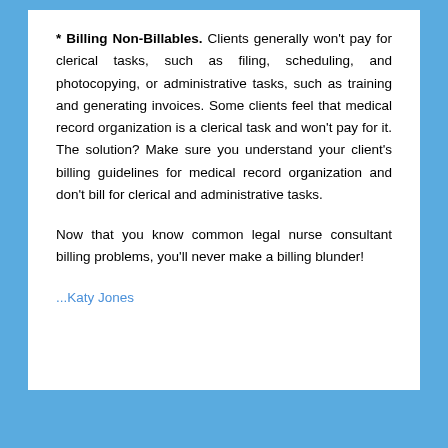* Billing Non-Billables. Clients generally won't pay for clerical tasks, such as filing, scheduling, and photocopying, or administrative tasks, such as training and generating invoices. Some clients feel that medical record organization is a clerical task and won't pay for it. The solution? Make sure you understand your client's billing guidelines for medical record organization and don't bill for clerical and administrative tasks.
Now that you know common legal nurse consultant billing problems, you'll never make a billing blunder!
...Katy Jones